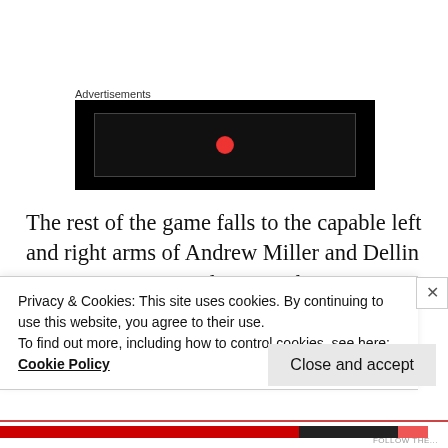Advertisements
[Figure (screenshot): Black advertisement banner with dark inner box and a red dot/logo element in the center]
The rest of the game falls to the capable left and right arms of Andrew Miller and Dellin Betances, respectively. Sure, they won’t put up gaudy save numbers, but manager Joe Girardi would certainly be maximizing the talent he has at his disposal. In
Privacy & Cookies: This site uses cookies. By continuing to use this website, you agree to their use.
To find out more, including how to control cookies, see here:
Cookie Policy
Close and accept